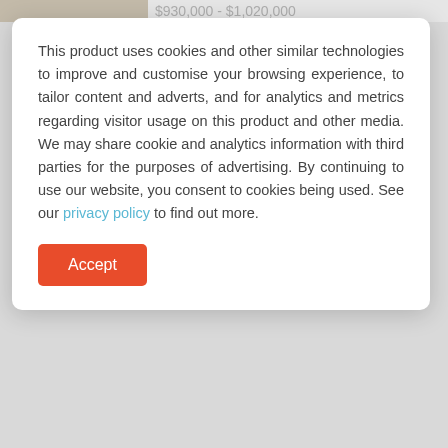$930,000 - $1,020,000
This product uses cookies and other similar technologies to improve and customise your browsing experience, to tailor content and adverts, and for analytics and metrics regarding visitor usage on this product and other media. We may share cookie and analytics information with third parties for the purposes of advertising. By continuing to use our website, you consent to cookies being used. See our privacy policy to find out more.
Accept
Contact Agent - Motivated Vendor!
15 Mantalini Street
4 / 2 / 1 / 719 m²
For Sale
$400,000
20/41 Woodhouse Drive
2 / 1 / 1 / 1,981 m²